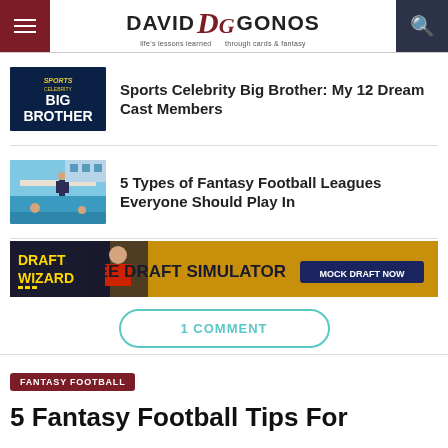David DG Gonos — life's lessons learned through cards & fantasy
Sports Celebrity Big Brother: My 12 Dream Cast Members
5 Types of Fantasy Football Leagues Everyone Should Play In
[Figure (infographic): Draft Wizard — Free Draft Simulator — Mock Draft Now advertisement banner]
1 COMMENT
FANTASY FOOTBALL
5 Fantasy Football Tips For